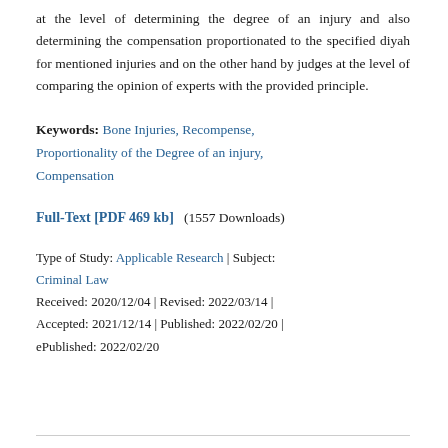at the level of determining the degree of an injury and also determining the compensation proportionated to the specified diyah for mentioned injuries and on the other hand by judges at the level of comparing the opinion of experts with the provided principle.
Keywords: Bone Injuries, Recompense, Proportionality of the Degree of an injury, Compensation
Full-Text [PDF 469 kb]  (1557 Downloads)
Type of Study: Applicable Research | Subject: Criminal Law
Received: 2020/12/04 | Revised: 2022/03/14 | Accepted: 2021/12/14 | Published: 2022/02/20 | ePublished: 2022/02/20